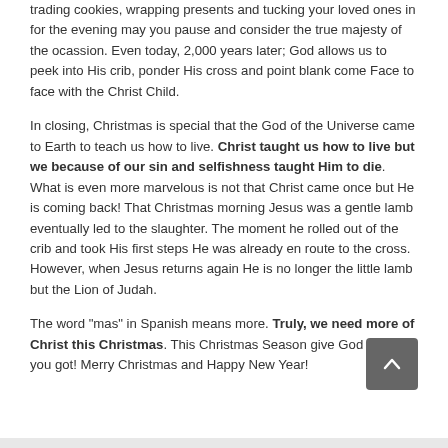trading cookies, wrapping presents and tucking your loved ones in for the evening may you pause and consider the true majesty of the ocassion. Even today, 2,000 years later; God allows us to peek into His crib, ponder His cross and point blank come Face to face with the Christ Child.
In closing, Christmas is special that the God of the Universe came to Earth to teach us how to live. Christ taught us how to live but we because of our sin and selfishness taught Him to die. What is even more marvelous is not that Christ came once but He is coming back! That Christmas morning Jesus was a gentle lamb eventually led to the slaughter. The moment he rolled out of the crib and took His first steps He was already en route to the cross. However, when Jesus returns again He is no longer the little lamb but the Lion of Judah.
The word "mas" in Spanish means more. Truly, we need more of Christ this Christmas. This Christmas Season give God ALL that you got! Merry Christmas and Happy New Year!